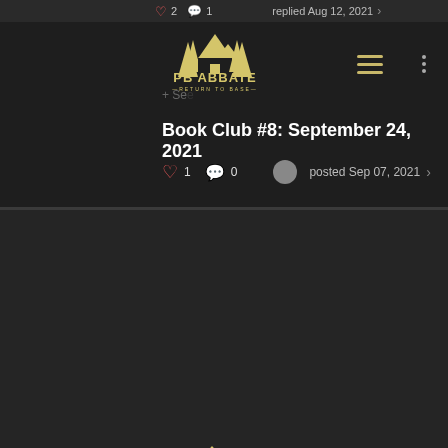[Figure (screenshot): Mobile app screenshot showing PB Abbate community feed with two sections: top portion shows a Book Club post with logo, hamburger menu, heart/comment icons, post date 'posted Sep 07, 2021'; bottom portion shows a membership/signup form with PB Abbate logo, Radio check heading, and First Name / Last Name input fields.]
2  1  replied Aug 12, 2021
[Figure (logo): PB Abbate Return to Base small logo - mountain cabin scene in cream/gold color]
Book Club #8: September 24, 2021
1  0  posted Sep 07, 2021
[Figure (logo): PB Abbate Return to Base large logo - mountain cabin scene in cream/gold color]
Radio check
FIRST NAME
LAST NAME